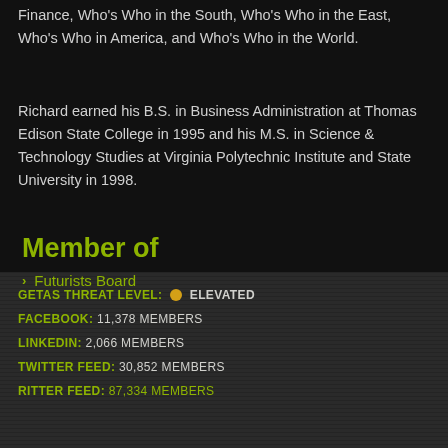Finance, Who's Who in the South, Who's Who in the East, Who's Who in America, and Who's Who in the World.
Richard earned his B.S. in Business Administration at Thomas Edison State College in 1995 and his M.S. in Science & Technology Studies at Virginia Polytechnic Institute and State University in 1998.
Member of
Futurists Board
GETAS THREAT LEVEL: ELEVATED
FACEBOOK: 11,378 MEMBERS
LINKEDIN: 2,066 MEMBERS
TWITTER FEED: 30,852 MEMBERS
RITTER FEED: [number] MEMBERS